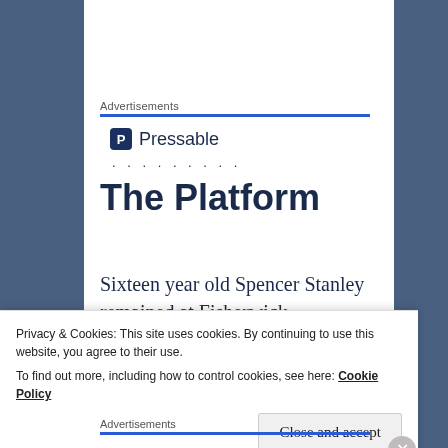Advertisements
[Figure (logo): Pressable logo with P icon and dotted separator]
The Platform
Sixteen year old Spencer Stanley remained at Fisherwick, companion
Privacy & Cookies: This site uses cookies. By continuing to use this website, you agree to their use.
To find out more, including how to control cookies, see here: Cookie Policy
Advertisements